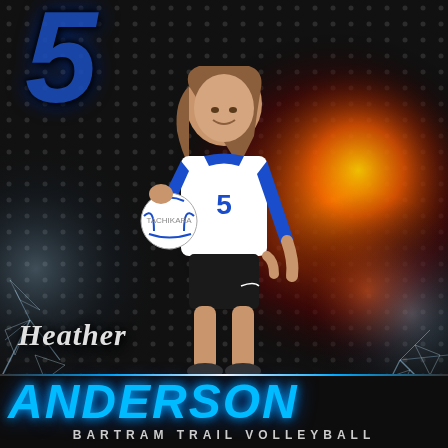[Figure (photo): Sports promotional photo of a female volleyball player (#5) named Heather Anderson from Bartram Trail Volleyball. She is wearing a white and royal blue uniform, holding a volleyball in her left hand, with her right hand on her hip. The background features dramatic fire effects, shattered glass, and dark hexagon patterns. A large blue number '5' appears in the upper left. The bottom has stylized text showing her name and team.]